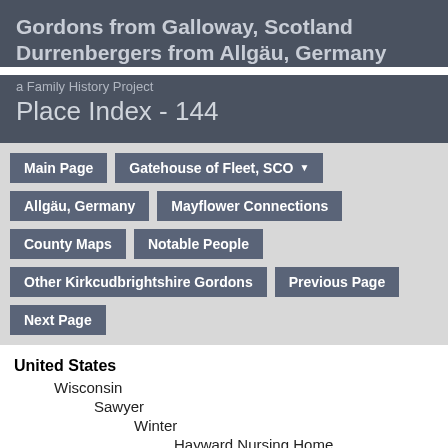Gordons from Galloway, Scotland Durrenbergers from Allgäu, Germany
a Family History Project
Place Index - 144
Main Page
Gatehouse of Fleet, SCO ▼
Allgäu, Germany
Mayflower Connections
County Maps
Notable People
Other Kirkcudbrightshire Gordons
Previous Page
Next Page
United States
    Wisconsin
        Sawyer
            Winter
                Hayward Nursing Home
[Figure (illustration): Google Maps / Google Earth icon]
Martin, Rose Margaret  b. 9 Dec 1914, d. 25 Oct 2005